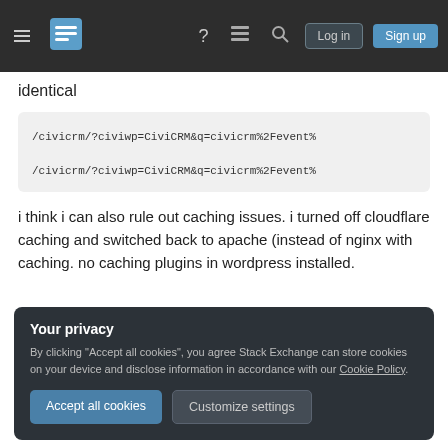Stack Exchange navigation bar with Log in and Sign up buttons
identical
/civicrm/?civiwp=CiviCRM&q=civicrm%2Fevent%
/civicrm/?civiwp=CiviCRM&q=civicrm%2Fevent%
i think i can also rule out caching issues. i turned off cloudflare caching and switched back to apache (instead of nginx with caching. no caching plugins in wordpress installed.
Your privacy
By clicking "Accept all cookies", you agree Stack Exchange can store cookies on your device and disclose information in accordance with our Cookie Policy.
Accept all cookies
Customize settings